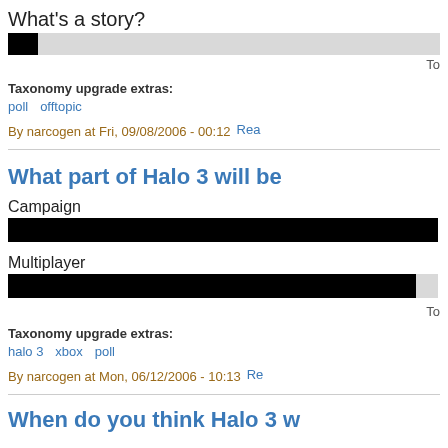What's a story?
To
Taxonomy upgrade extras:
poll   offtopic
By narcogen at Fri, 09/08/2006 - 00:12   Read
What part of Halo 3 will be
Campaign
Multiplayer
To
Taxonomy upgrade extras:
halo 3   xbox   poll
By narcogen at Mon, 06/12/2006 - 10:13   Re
When do you think Halo 3 w